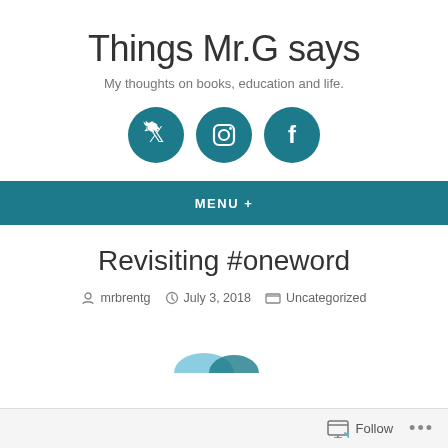Things Mr.G says
My thoughts on books, education and life.
[Figure (other): Three social media icons (Twitter, Instagram, Facebook) as white icons on teal circular backgrounds]
MENU +
Revisiting #oneword
mrbrentg   July 3, 2018   Uncategorized
[Figure (other): Partial image peeking at the bottom of the page]
Follow   ...